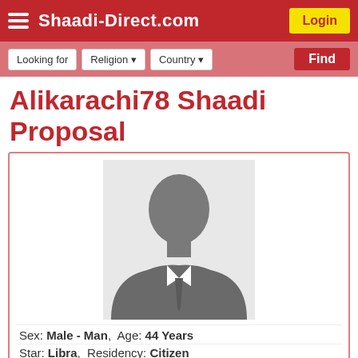Shaadi-Direct.com
Alikarachi78 Shaadi Proposal
[Figure (photo): Generic male silhouette placeholder avatar in grey suit with tie on light grey background]
Sex: Male - Man,  Age: 44 Years
Star: Libra,  Residency: Citizen
Saddar Karachi, Sind, Pakistan matrimonials